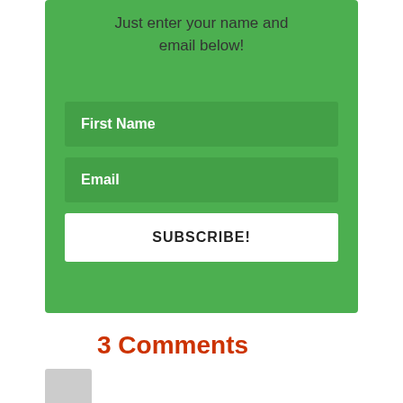Just enter your name and email below!
First Name
Email
SUBSCRIBE!
3 Comments